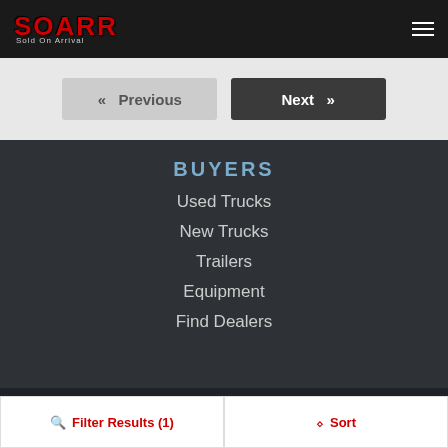SOARR - Sold On Arrival
« Previous   Next »
BUYERS
Used Trucks
New Trucks
Trailers
Equipment
Find Dealers
DEALER RESOURCES
Inventory Management
Filter Results (1)   Sort